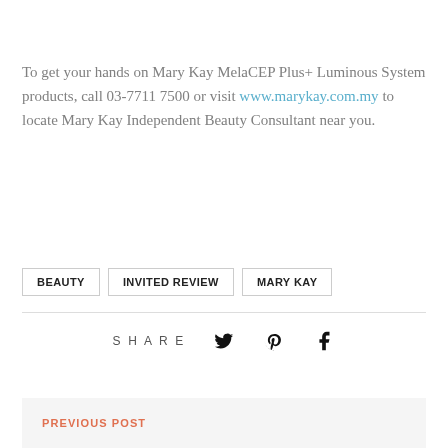To get your hands on Mary Kay MelaCEP Plus+ Luminous System products, call 03-7711 7500 or visit www.marykay.com.my to locate Mary Kay Independent Beauty Consultant near you.
BEAUTY
INVITED REVIEW
MARY KAY
SHARE
PREVIOUS POST